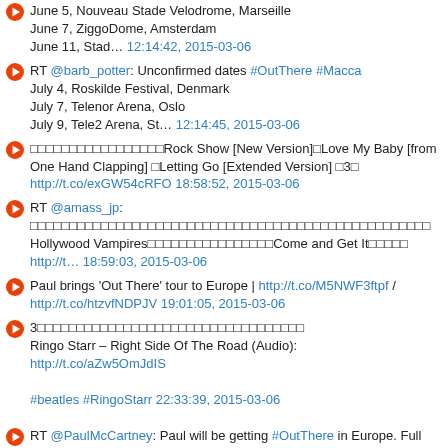June 5, Nouveau Stade Velodrome, Marseille
June 7, ZiggoDome, Amsterdam
June 11, Stad… 12:14:42, 2015-03-06
RT @barb_potter: Unconfirmed dates #OutThere #Macca
July 4, Roskilde Festival, Denmark
July 7, Telenor Arena, Oslo
July 9, Tele2 Arena, St… 12:14:45, 2015-03-06
□□□□□□□□□□□□□□□□□□Rock Show [New Version]□Love My Baby [from One Hand Clapping] □Letting Go [Extended Version] □3□
http://t.co/exGW54cRFO 18:58:52, 2015-03-06
RT @amass_jp: □□□□□□□□□□□□□□□□□□□□□□□□□□□□□□□□□□□□□□□□□□□□□□□□□□□
Hollywood Vampires□□□□□□□□□□□□□□□□Come and Get It□□□□□
http://t… 18:59:03, 2015-03-06
Paul brings 'Out There' tour to Europe | http://t.co/M5NWF3ftpf / http://t.co/htzvfNDPJV 19:01:05, 2015-03-06
3□□□□□□□□□□□□□□□□□□□□□□□□□□□□□□□□□□
Ringo Starr – Right Side Of The Road (Audio):
http://t.co/aZw5OmJdIS

#beatles #RingoStarr 22:33:39, 2015-03-06
RT @PaulMcCartney: Paul will be getting #OutThere in Europe. Full details HERE: http://t.co/D0fzucJ14I http://t.co/C24Uq0s7H2 22:36:26, 2015-03-06